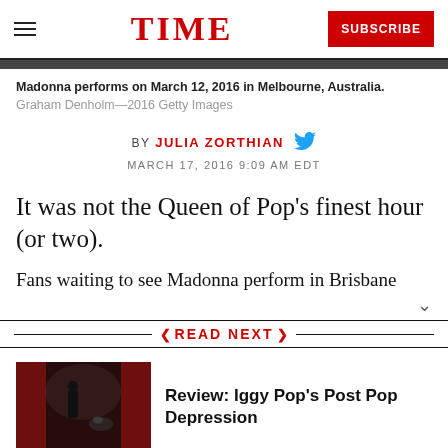TIME
Madonna performs on March 12, 2016 in Melbourne, Australia.  Graham Denholm—2016 Getty Images
BY JULIA ZORTHIAN
MARCH 17, 2016 9:09 AM EDT
It was not the Queen of Pop's finest hour (or two).
Fans waiting to see Madonna perform in Brisbane
READ NEXT
Review: Iggy Pop's Post Pop Depression